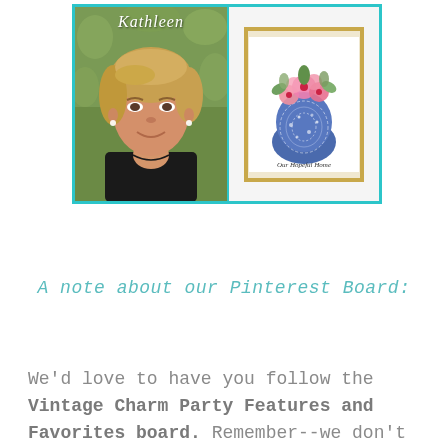[Figure (photo): Two side-by-side photos inside a teal border: left shows a woman named Kathleen outdoors with short blonde hair wearing a black top, right shows a framed watercolor artwork of pink flowers in a blue and white vase labeled 'Our Hopeful Home']
A note about our Pinterest Board:
We'd love to have you follow the Vintage Charm Party Features and Favorites board. Remember--we don't